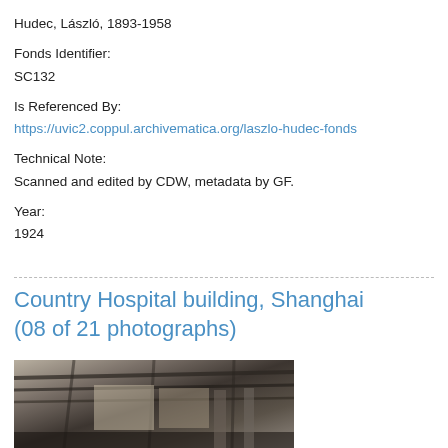Hudec, László, 1893-1958
Fonds Identifier:
SC132
Is Referenced By:
https://uvic2.coppul.archivematica.org/laszlo-hudec-fonds
Technical Note:
Scanned and edited by CDW, metadata by GF.
Year:
1924
Country Hospital building, Shanghai (08 of 21 photographs)
[Figure (photo): Black and white historical photograph showing interior of Country Hospital building under construction or renovation, Shanghai, 1924. Ceiling beams and structural elements visible.]